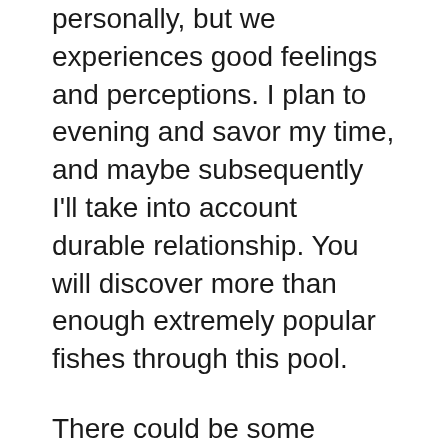personally, but we experiences good feelings and perceptions. I plan to evening and savor my time, and maybe subsequently I'll take into account durable relationship. You will discover more than enough extremely popular fishes through this pool.
There could be some downtime with E-Chat if any technical points occur on the back end. Sometimes, if the website has permanently banned you for any safety causes, you might not access their application. In that case, you presumably can contact their help staff. You will get to see many chatrooms right after you create your username, and hit the “enter” option. The chat rooms are highlighted well sufficient, and